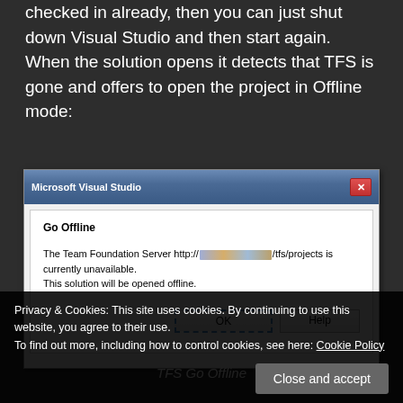checked in already, then you can just shut down Visual Studio and then start again. When the solution opens it detects that TFS is gone and offers to open the project in Offline mode:
[Figure (screenshot): Microsoft Visual Studio dialog box titled 'Go Offline'. Message reads: 'The Team Foundation Server http://[blurred URL]/tfs/projects is currently unavailable. This solution will be opened offline.' Two buttons: OK (focused, with dashed blue border) and Help.]
TFS Go Offline
Privacy & Cookies: This site uses cookies. By continuing to use this website, you agree to their use.
To find out more, including how to control cookies, see here: Cookie Policy
Close and accept